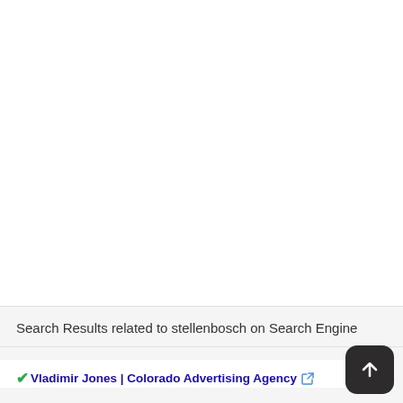Search Results related to stellenbosch on Search Engine
Vladimir Jones | Colorado Advertising Agency